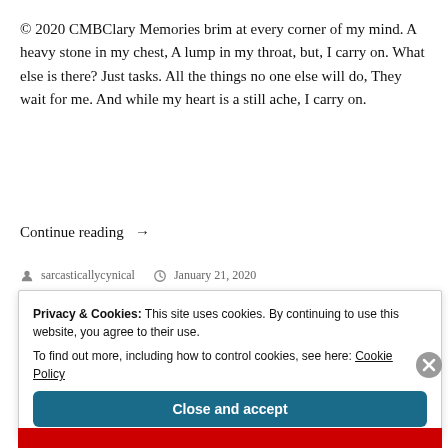© 2020 CMBClary Memories brim at every corner of my mind. A heavy stone in my chest, A lump in my throat, but, I carry on. What else is there? Just tasks. All the things no one else will do, They wait for me. And while my heart is a still ache, I carry on.
Continue reading →
sarcasticallycynical   January 21, 2020
Privacy & Cookies: This site uses cookies. By continuing to use this website, you agree to their use.
To find out more, including how to control cookies, see here: Cookie Policy
Close and accept